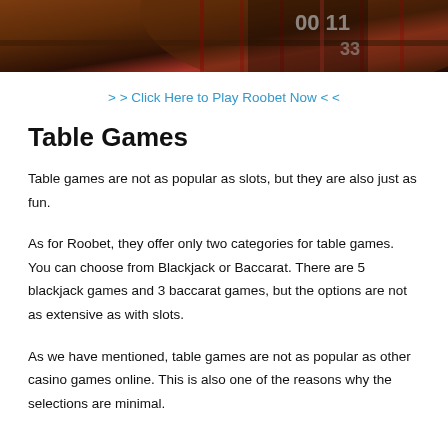[Figure (photo): Top portion of a casino roulette wheel photograph with dark brown wood tones and red accents, cropped at the top of the page]
> > Click Here to Play Roobet Now < <
Table Games
Table games are not as popular as slots, but they are also just as fun.
As for Roobet, they offer only two categories for table games. You can choose from Blackjack or Baccarat. There are 5 blackjack games and 3 baccarat games, but the options are not as extensive as with slots.
As we have mentioned, table games are not as popular as other casino games online. This is also one of the reasons why the selections are minimal.